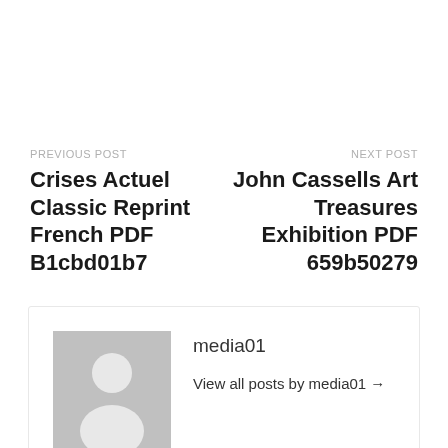PREVIOUS POST
Crises Actuel Classic Reprint French PDF B1cbd01b7
NEXT POST
John Cassells Art Treasures Exhibition PDF 659b50279
media01
View all posts by media01 →